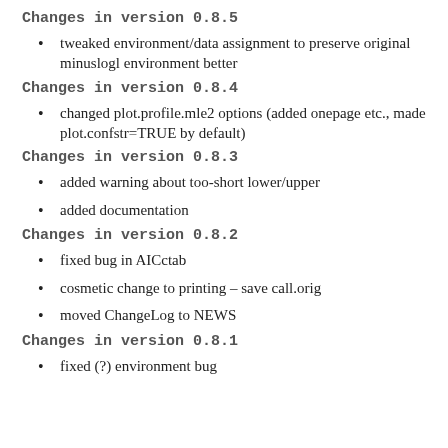Changes in version 0.8.5
tweaked environment/data assignment to preserve original minuslogl environment better
Changes in version 0.8.4
changed plot.profile.mle2 options (added onepage etc., made plot.confstr=TRUE by default)
Changes in version 0.8.3
added warning about too-short lower/upper
added documentation
Changes in version 0.8.2
fixed bug in AICctab
cosmetic change to printing – save call.orig
moved ChangeLog to NEWS
Changes in version 0.8.1
fixed (?) environment bug